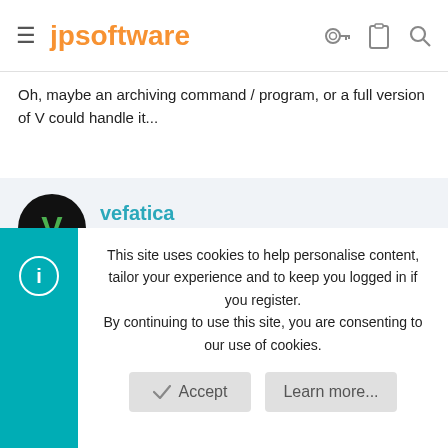jpsoftware
Oh, maybe an archiving command / program, or a full version of V could handle it...
vefatica
Dec 13, 2012  #3
I don't recall the details, but there's a construction beginning with, I believe, "\\?\" that can help with long file names.

That said, your file name seems about 100 characters shy of
This site uses cookies to help personalise content, tailor your experience and to keep you logged in if you register.
By continuing to use this site, you are consenting to our use of cookies.